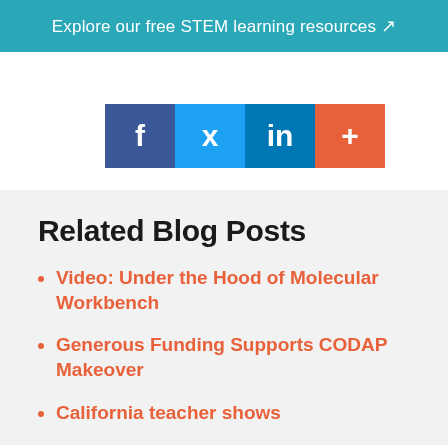Explore our free STEM learning resources ↗
[Figure (infographic): Social media share buttons: Facebook (dark blue), Twitter (light blue), LinkedIn (blue), More/Plus (orange-red)]
Related Blog Posts
Video: Under the Hood of Molecular Workbench
Generous Funding Supports CODAP Makeover
California teacher shows